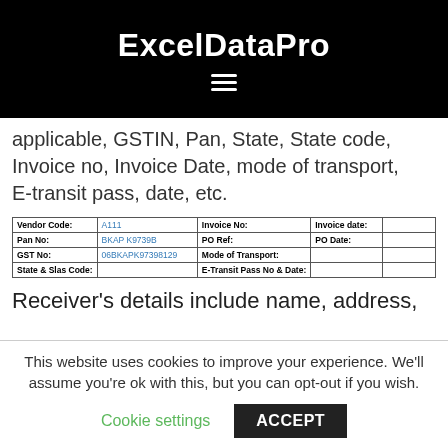ExcelDataPro
applicable, GSTIN, Pan, State, State code, Invoice no, Invoice Date, mode of transport, E-transit pass, date, etc.
| Vendor Code: | A111 | Invoice No: | Invoice date: |  |
| --- | --- | --- | --- | --- |
| Pan No: | BKAP K9739B | PO Ref: | PO Date: |  |
| GST No: | 06BKAPK97398129 | Mode of Transport: |  |  |
| State & Slas Code: |  | E-Transit Pass No & Date: |  |  |
Receiver's details include name, address,
This website uses cookies to improve your experience. We'll assume you're ok with this, but you can opt-out if you wish.
Cookie settings  ACCEPT